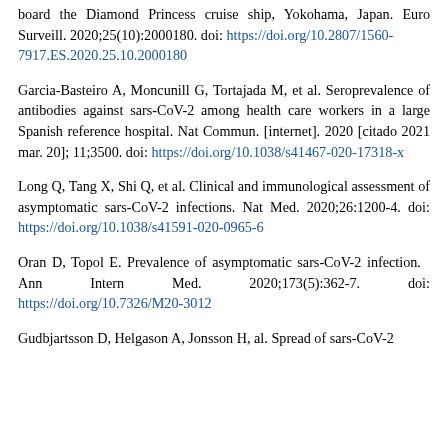board the Diamond Princess cruise ship, Yokohama, Japan. Euro Surveill. 2020;25(10):2000180. doi: https://doi.org/10.2807/1560-7917.ES.2020.25.10.2000180
Garcia-Basteiro A, Moncunill G, Tortajada M, et al. Seroprevalence of antibodies against sars-CoV-2 among health care workers in a large Spanish reference hospital. Nat Commun. [internet]. 2020 [citado 2021 mar. 20]; 11;3500. doi: https://doi.org/10.1038/s41467-020-17318-x
Long Q, Tang X, Shi Q, et al. Clinical and immunological assessment of asymptomatic sars-CoV-2 infections. Nat Med. 2020;26:1200-4. doi: https://doi.org/10.1038/s41591-020-0965-6
Oran D, Topol E. Prevalence of asymptomatic sars-CoV-2 infection. Ann Intern Med. 2020;173(5):362-7. doi: https://doi.org/10.7326/M20-3012
Gudbjartsson D, Helgason A, Jonsson H, al. Spread of sars-CoV-2